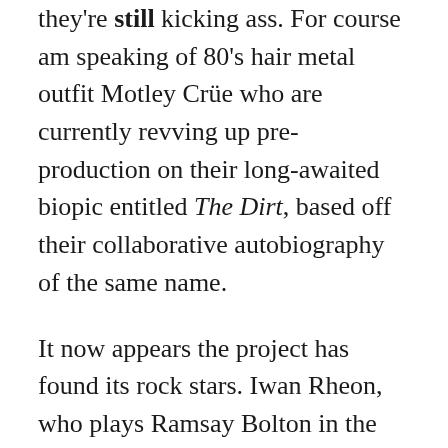they're still kicking ass. For course am speaking of 80's hair metal outfit Motley Crüe who are currently revving up pre-production on their long-awaited biopic entitled The Dirt, based off their collaborative autobiography of the same name.
It now appears the project has found its rock stars. Iwan Rheon, who plays Ramsay Bolton in the HBO hit series Game of Thrones, has been tapped to play lead guitarist Mick Mars. Similarly, Daniel Webber, who portrays the traumatized war vet Lewis Wilson in Netflix's critically acclaimed series The Punisher, has